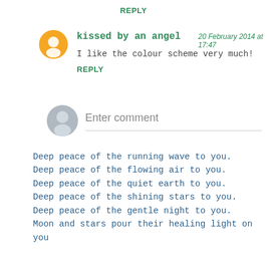REPLY
kissed by an angel  20 February 2014 at 17:47
I like the colour scheme very much!
REPLY
Enter comment
Deep peace of the running wave to you.
Deep peace of the flowing air to you.
Deep peace of the quiet earth to you.
Deep peace of the shining stars to you.
Deep peace of the gentle night to you.
Moon and stars pour their healing light on you